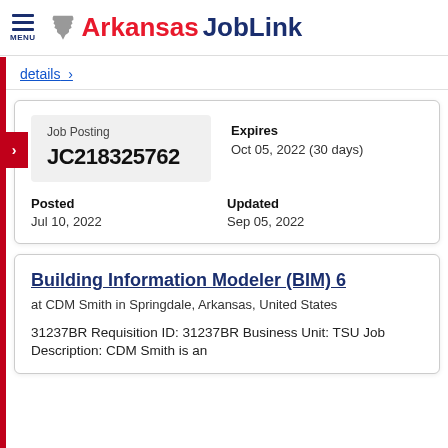MENU  Arkansas JobLink
details >
| Job Posting | Expires |
| JC218325762 | Oct 05, 2022 (30 days) |
| Posted | Updated |
| Jul 10, 2022 | Sep 05, 2022 |
Building Information Modeler (BIM) 6
at CDM Smith in Springdale, Arkansas, United States
31237BR Requisition ID: 31237BR Business Unit: TSU Job Description: CDM Smith is an